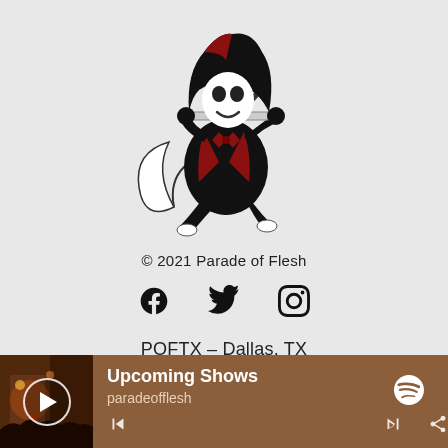[Figure (illustration): Cartoon grim reaper character in black robe with white skull face and red accents, sitting and playing a flute/recorder instrument, with a scythe blade visible below]
© 2021 Parade of Flesh
[Figure (infographic): Three social media icons in a row: Facebook (f), Twitter (bird), Instagram (camera outline)]
POFTX – Dallas, TX
[Figure (screenshot): Music player bar with brown/tan background showing album art thumbnail with play button overlay on left, 'Upcoming Shows' title in bold white, 'paradeofflesh' subtitle, Spotify logo icon on right, and playback controls on bottom]